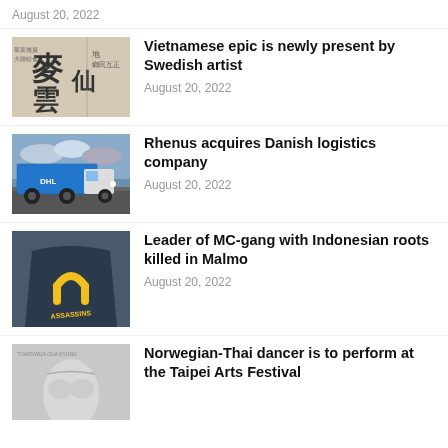August 20, 2022
[Figure (photo): Chinese/Vietnamese text characters on aged paper]
Vietnamese epic is newly present by Swedish artist
August 20, 2022
[Figure (photo): Blue Rhenus logistics truck on a road]
Rhenus acquires Danish logistics company
August 20, 2022
[Figure (photo): Person wearing Assassins MC gang jacket with horseshoe logo]
Leader of MC-gang with Indonesian roots killed in Malmo
August 20, 2022
[Figure (photo): Black and white photo of shirtless dancer]
Norwegian-Thai dancer is to perform at the Taipei Arts Festival